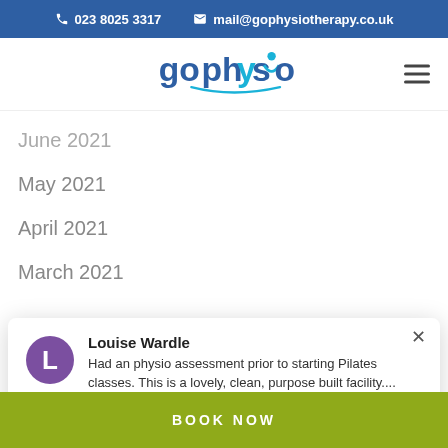023 8025 3317  mail@gophysiotherapy.co.uk
[Figure (logo): gophysio logo in blue and teal with swoosh underline]
June 2021
May 2021
April 2021
March 2021
Louise Wardle
Had an physio assessment prior to starting Pilates classes. This is a lovely, clean, purpose built facility....
October 2020
September 2020